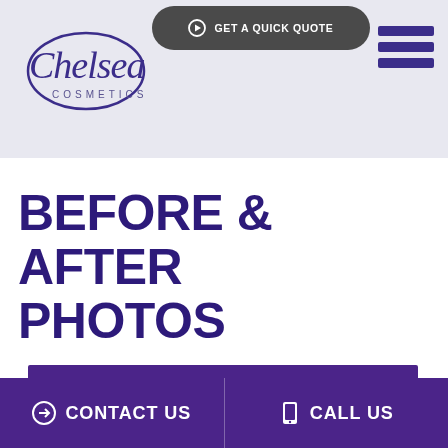[Figure (logo): Chelsea Cosmetics logo — cursive handwritten 'Chelsea' above small-caps 'COSMETICS' in dark purple/indigo]
[Figure (screenshot): Dark rounded button with circle-arrow icon and text 'GET A QUICK QUOTE' in white on dark grey background]
[Figure (other): Hamburger menu icon — three horizontal purple bars stacked vertically]
BEFORE & AFTER PHOTOS
[Figure (other): Purple/violet rectangular banner at bottom of main content area]
[Figure (screenshot): Bottom navigation bar with two buttons: 'CONTACT US' (left, with circle-arrow icon) and 'CALL US' (right, with phone icon), both in white on deep purple background]